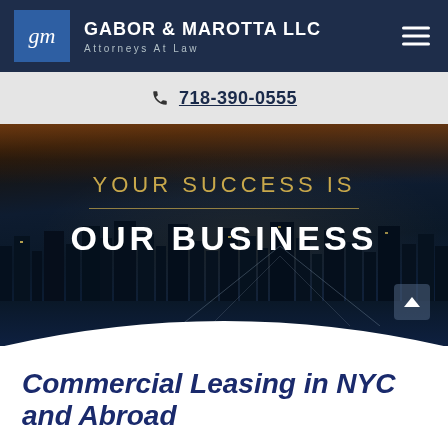gm GABOR & MAROTTA LLC Attorneys At Law
718-390-0555
[Figure (photo): New York City skyline at night with Brooklyn Bridge, dark blue tones with city lights and orange-tinted sky, hero section with text overlay: YOUR SUCCESS IS / OUR BUSINESS]
Commercial Leasing in NYC and Abroad